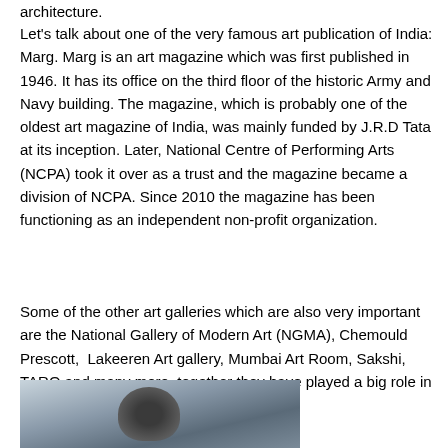architecture.
Let's talk about one of the very famous art publication of India: Marg. Marg is an art magazine which was first published in 1946. It has its office on the third floor of the historic Army and Navy building. The magazine, which is probably one of the oldest art magazine of India, was mainly funded by J.R.D Tata at its inception. Later, National Centre of Performing Arts (NCPA) took it over as a trust and the magazine became a division of NCPA. Since 2010 the magazine has been functioning as an independent non-profit organization.
Some of the other art galleries which are also very important are the National Gallery of Modern Art (NGMA), Chemould Prescott, Lakeeren Art gallery, Mumbai Art Room, Sakshi, TARQ and many more, together they have played a big role in the inception of The Kala Ghoda Festival.
[Figure (photo): A photograph showing a building exterior on the left with a dark statue or sculpture figure in the center and a tree on the right, against a light sky background.]